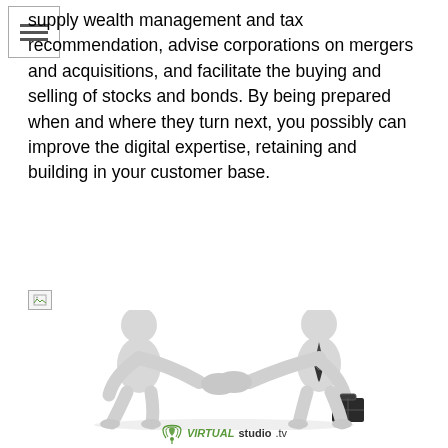supply wealth management and tax recommendation, advise corporations on mergers and acquisitions, and facilitate the buying and selling of stocks and bonds. By being prepared when and where they turn next, you possibly can improve the digital expertise, retaining and building in your customer base.
[Figure (illustration): Two 3D rendered white figure characters shaking hands. The figure on the right wears a dark tie and carries a dark briefcase. The image is watermarked with 'VIRTUALstudio.tv' at the bottom.]